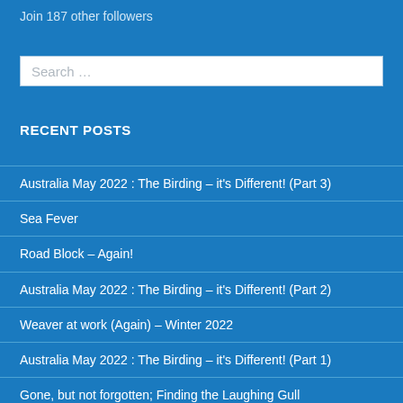Join 187 other followers
Search …
RECENT POSTS
Australia May 2022 : The Birding – it's Different! (Part 3)
Sea Fever
Road Block – Again!
Australia May 2022 : The Birding – it's Different! (Part 2)
Weaver at work (Again) – Winter 2022
Australia May 2022 : The Birding – it's Different! (Part 1)
Gone, but not forgotten; Finding the Laughing Gull